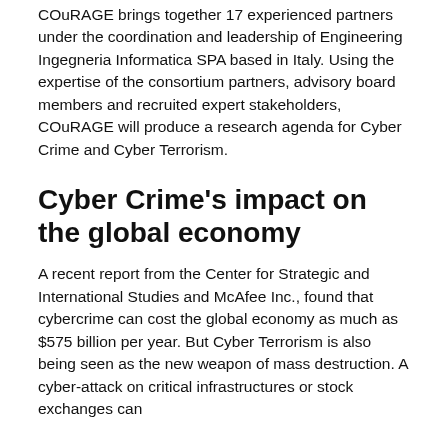COuRAGE brings together 17 experienced partners under the coordination and leadership of Engineering Ingegneria Informatica SPA based in Italy. Using the expertise of the consortium partners, advisory board members and recruited expert stakeholders, COuRAGE will produce a research agenda for Cyber Crime and Cyber Terrorism.
Cyber Crime's impact on the global economy
A recent report from the Center for Strategic and International Studies and McAfee Inc., found that cybercrime can cost the global economy as much as $575 billion per year. But Cyber Terrorism is also being seen as the new weapon of mass destruction. A cyber-attack on critical infrastructures or stock exchanges can